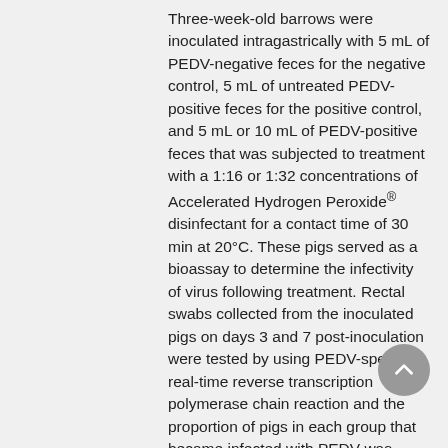Three-week-old barrows were inoculated intragastrically with 5 mL of PEDV-negative feces for the negative control, 5 mL of untreated PEDV-positive feces for the positive control, and 5 mL or 10 mL of PEDV-positive feces that was subjected to treatment with a 1:16 or 1:32 concentrations of Accelerated Hydrogen Peroxide® disinfectant for a contact time of 30 min at 20°C. These pigs served as a bioassay to determine the infectivity of virus following treatment. Rectal swabs collected from the inoculated pigs on days 3 and 7 post-inoculation were tested by using PEDV-specific real-time reverse transcription polymerase chain reaction and the proportion of pigs in each group that became infected with PEDV was assessed. None of the pigs used for the bioassay in the 4 treatment groups and the